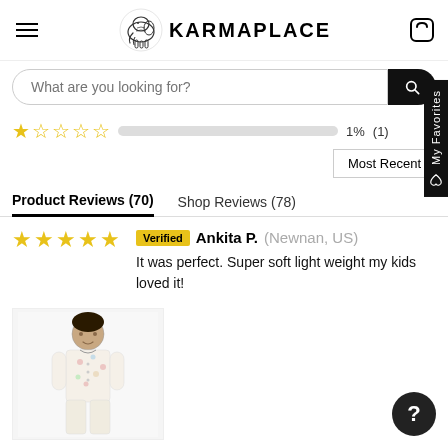KARMAPLACE
What are you looking for?
1 star: 1% (1)
Most Recent
Product Reviews (70)   Shop Reviews (78)
Verified Ankita P. (Newnan, US)
It was perfect. Super soft light weight my kids loved it!
[Figure (photo): Photo of a child wearing a floral kurta outfit attached to the review.]